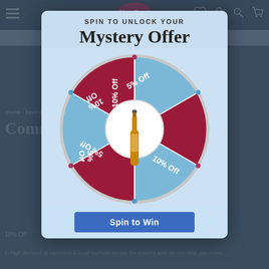[Figure (screenshot): Website background showing MoreBeer navigation, sale bar, breadcrumb and page content for Commercial Kombucha Equipment]
[Figure (infographic): Spin-to-win modal overlay with a prize wheel showing alternating blue and dark red/maroon segments labeled 5% Off and 10% Off, with a beer bottle illustration in the center. Header reads SPIN TO UNLOCK YOUR Mystery Offer. Below the wheel is a Spin to Win button.]
SPIN TO UNLOCK YOUR
Mystery Offer
5% Off (×3), 10% Off (×3) — alternating segments on prize wheel
Spin to Win